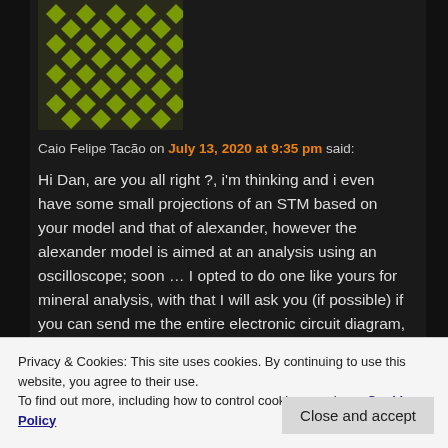[Figure (illustration): Avatar with green/yellow geometric diamond/chevron pattern on dark background]
Caio Felipe Tacão on July 13, 2020 at 9:35 pm said:
Hi Dan, are you all right ?, i'm thinking and i even have some small projections of an STM based on your model and that of alexander, however the alexander model is aimed at an analysis using an oscilloscope; soon … I opted to do one like yours for mineral analysis, with that I will ask you (if possible) if you can send me the entire electronic circuit diagram, I will be very grateful, because I am having difficulties designing them.
thank you in advance!
Privacy & Cookies: This site uses cookies. By continuing to use this website, you agree to their use.
To find out more, including how to control cookies, see here: Cookie Policy
Close and accept